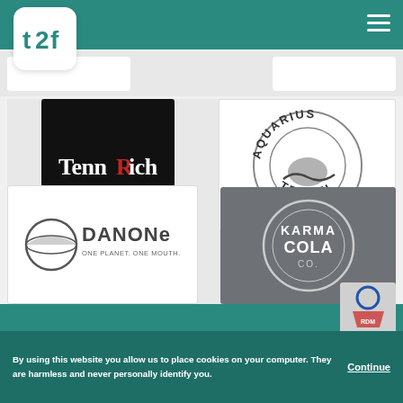[Figure (logo): t2f logo - white rounded square with teal 't2f' text]
[Figure (logo): TennRich logo - white text on black background]
[Figure (logo): Aquarius Travel logo - circular design with fish/wave on white background]
[Figure (logo): Danone logo - One Planet One Health, grayscale on white background]
[Figure (logo): Karma Cola Co. logo - circular badge design on gray background]
[Figure (logo): Partial logo visible at bottom right corner]
By using this website you allow us to place cookies on your computer. They are harmless and never personally identify you.
Continue